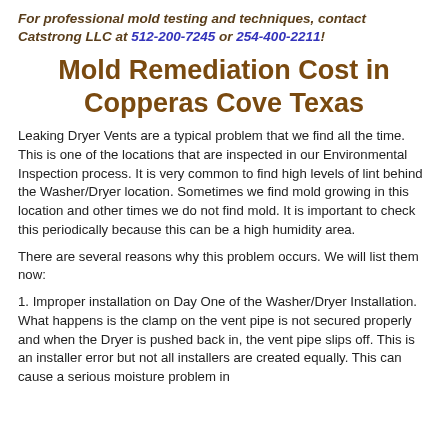For professional mold testing and techniques, contact Catstrong LLC at 512-200-7245 or 254-400-2211!
Mold Remediation Cost in Copperas Cove Texas
Leaking Dryer Vents are a typical problem that we find all the time. This is one of the locations that are inspected in our Environmental Inspection process. It is very common to find high levels of lint behind the Washer/Dryer location. Sometimes we find mold growing in this location and other times we do not find mold. It is important to check this periodically because this can be a high humidity area.
There are several reasons why this problem occurs. We will list them now:
1. Improper installation on Day One of the Washer/Dryer Installation. What happens is the clamp on the vent pipe is not secured properly and when the Dryer is pushed back in, the vent pipe slips off. This is an installer error but not all installers are created equally. This can cause a serious moisture problem in